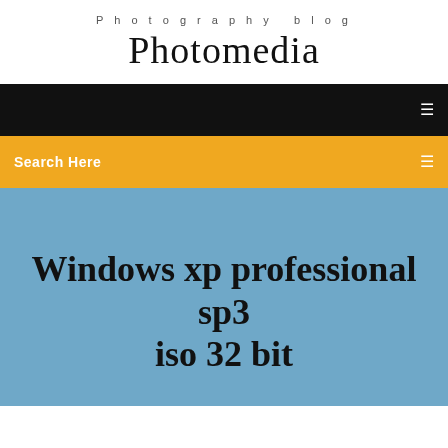Photography blog
Photomedia
Search Here
Windows xp professional sp3 iso 32 bit